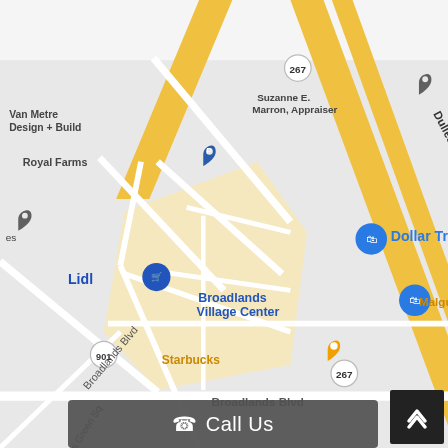[Figure (map): Google Maps screenshot showing Broadlands Village Center area in Virginia near Dulles Greenway (Toll road, Route 267). Visible landmarks include Dollar Tree, Broadlands Village Center, Malgudi Veg, Starbucks, Wendy's, Lidl, Royal Farms, Van Metre Design + Build, Suzanne E. Marron Appraiser, Shale Ridge Neighborhood, Sai Catholic (partial), Broadlands Blvd, Hunters Green Square, Broadlands Blvd, Route 901 marker, Route 267 markers, Cornerstone (partial), Smoker (partial), Atherton St, mill Dr (partial).]
Call Us